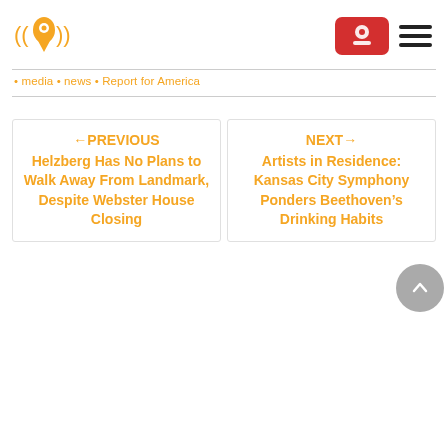[Figure (logo): Heartland Signal logo — orange location pin with radio waves, in orange]
media • news • Report for America
← PREVIOUS
Helzberg Has No Plans to Walk Away From Landmark, Despite Webster House Closing
NEXT →
Artists in Residence: Kansas City Symphony Ponders Beethoven's Drinking Habits